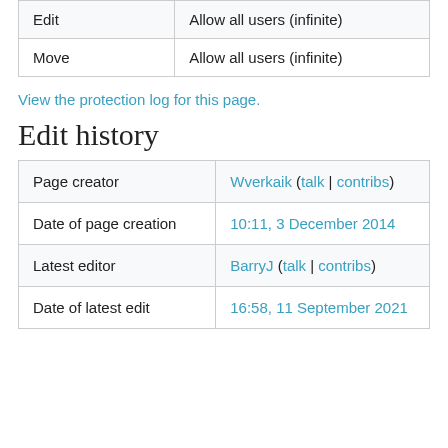| Action | Permission |
| --- | --- |
| Edit | Allow all users (infinite) |
| Move | Allow all users (infinite) |
View the protection log for this page.
Edit history
| Field | Value |
| --- | --- |
| Page creator | Wverkaik (talk | contribs) |
| Date of page creation | 10:11, 3 December 2014 |
| Latest editor | BarryJ (talk | contribs) |
| Date of latest edit | 16:58, 11 September 2021 |